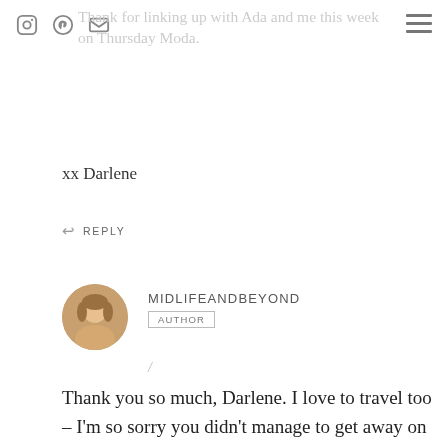Thank for linking up with Ada and me this week on Thursday Moda.
xx Darlene
↩ REPLY
MIDLIFEANDBEYOND AUTHOR /
Thank you so much, Darlene. I love to travel too – I'm so sorry you didn't manage to get away on holiday. Hopefully, this situation will improve next year and once again we can go on our trips abroad. xx